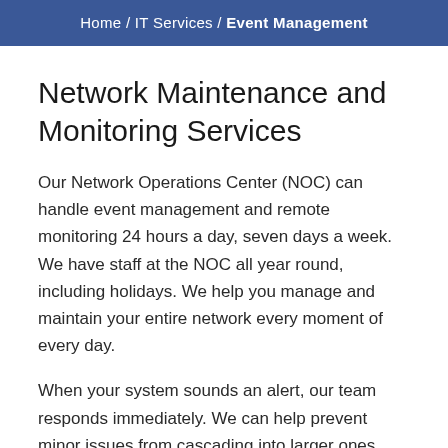Home / IT Services / Event Management
Network Maintenance and Monitoring Services
Our Network Operations Center (NOC) can handle event management and remote monitoring 24 hours a day, seven days a week. We have staff at the NOC all year round, including holidays. We help you manage and maintain your entire network every moment of every day.
When your system sounds an alert, our team responds immediately. We can help prevent minor issues from cascading into larger ones